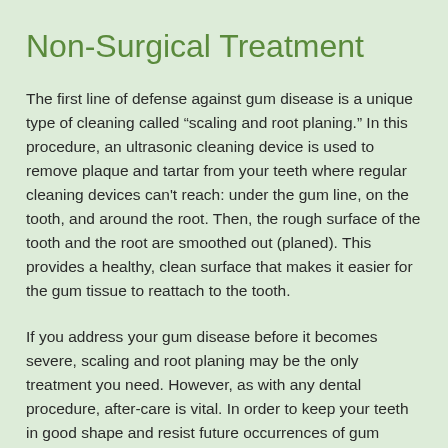Non-Surgical Treatment
The first line of defense against gum disease is a unique type of cleaning called “scaling and root planing.” In this procedure, an ultrasonic cleaning device is used to remove plaque and tartar from your teeth where regular cleaning devices can't reach: under the gum line, on the tooth, and around the root. Then, the rough surface of the tooth and the root are smoothed out (planed). This provides a healthy, clean surface that makes it easier for the gum tissue to reattach to the tooth.
If you address your gum disease before it becomes severe, scaling and root planing may be the only treatment you need. However, as with any dental procedure, after-care is vital. In order to keep your teeth in good shape and resist future occurrences of gum disease, you must brush and